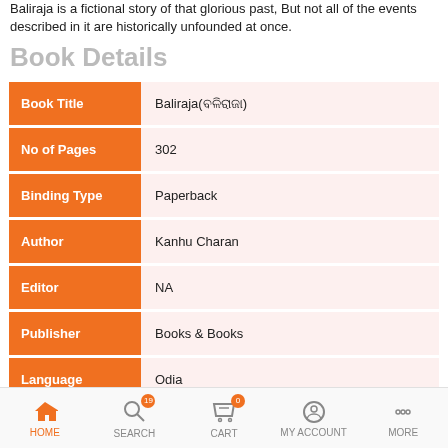Baliraja is a fictional story of that glorious past, But not all of the events described in it are historically unfounded at once.
Book Details
| Field | Value |
| --- | --- |
| Book Title | Baliraja(ବଳିରାଜା) |
| No of Pages | 302 |
| Binding Type | Paperback |
| Author | Kanhu Charan |
| Editor | NA |
| Publisher | Books & Books |
| Language | Odia |
| ISBN | 978-81-9513489-2 |
HOME  SEARCH  CART  MY ACCOUNT  MORE